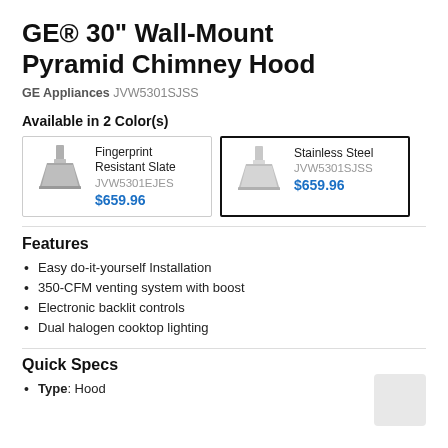GE® 30" Wall-Mount Pyramid Chimney Hood
GE Appliances JVW5301SJSS
Available in 2 Color(s)
| Fingerprint Resistant Slate | JVW5301EJES | $659.96 |
| Stainless Steel | JVW5301SJSS | $659.96 |
Features
Easy do-it-yourself Installation
350-CFM venting system with boost
Electronic backlit controls
Dual halogen cooktop lighting
Quick Specs
Type: Hood